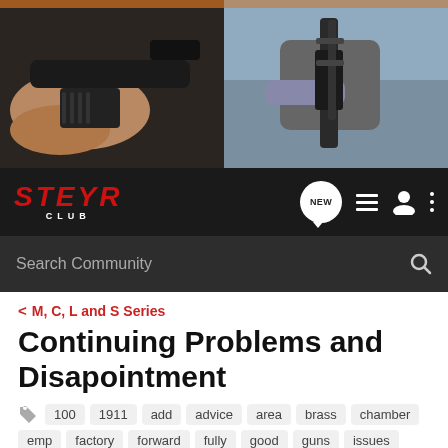[Figure (photo): Hero banner split image: left side shows close-up of hands holding a black pistol, right side shows a person holding a rifle/long gun outdoors]
STEYR CLUB — navigation bar with NEW, list, user, and menu icons, and Search Community search bar
< M, C, L and S Series
Continuing Problems and Disapointment
100  1911  add  advice  area  brass  chamber  emp  factory  forward  fully  good  guns  issues  locking  mags  parts  pistol  problem  round  slide  spring  started  test  years
→ Jump to Latest    Follow